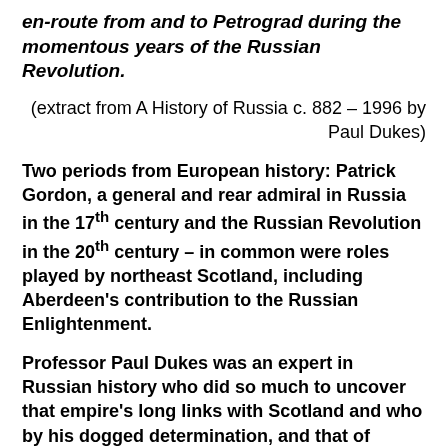en-route from and to Petrograd during the momentous years of the Russian Revolution.
(extract from A History of Russia c. 882 – 1996 by Paul Dukes)
Two periods from European history: Patrick Gordon, a general and rear admiral in Russia in the 17th century and the Russian Revolution in the 20th century – in common were roles played by northeast Scotland, including Aberdeen's contribution to the Russian Enlightenment.
Professor Paul Dukes was an expert in Russian history who did so much to uncover that empire's long links with Scotland and who by his dogged determination, and that of others, finally managed to get Patrick Gordon's remains reburied to tell the